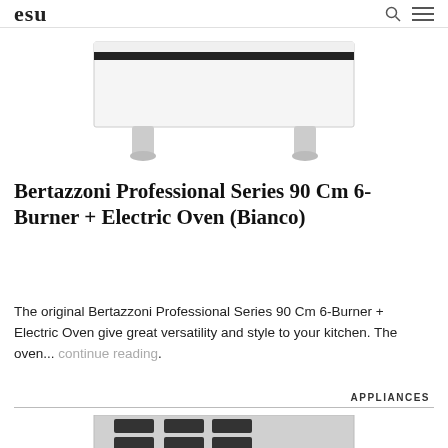esu
[Figure (photo): White Bertazzoni range cooker viewed from above, showing white surface with black trim and two chrome legs visible at bottom]
Bertazzoni Professional Series 90 Cm 6-Burner + Electric Oven (Bianco)
The original Bertazzoni Professional Series 90 Cm 6-Burner + Electric Oven give great versatility and style to your kitchen. The oven... continue reading.
APPLIANCES
[Figure (photo): Dark red/burgundy Bertazzoni Professional Series range cooker with 6 burners on top and electric oven below with gold handle, partially visible]